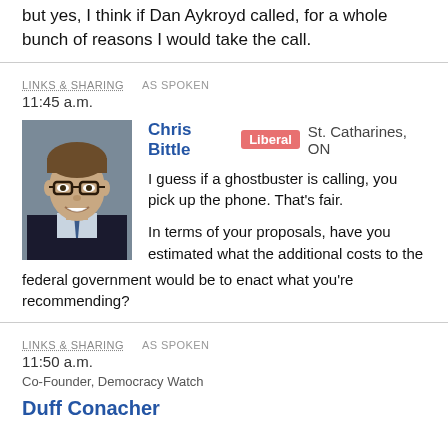but yes, I think if Dan Aykroyd called, for a whole bunch of reasons I would take the call.
LINKS & SHARING   AS SPOKEN
11:45 a.m.
[Figure (photo): Headshot photo of Chris Bittle, a man with brown hair and glasses, wearing a dark suit]
Chris Bittle  Liberal  St. Catharines, ON
I guess if a ghostbuster is calling, you pick up the phone. That's fair.

In terms of your proposals, have you estimated what the additional costs to the federal government would be to enact what you're recommending?
LINKS & SHARING   AS SPOKEN
11:50 a.m.
Co-Founder, Democracy Watch
Duff Conacher